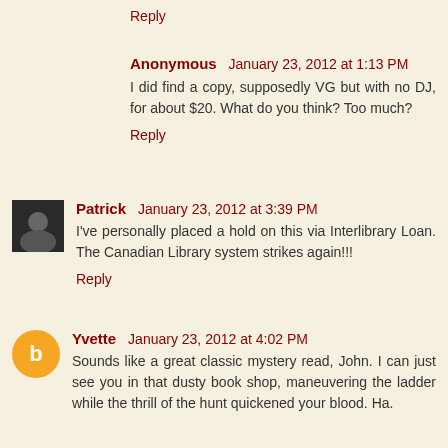Reply
Anonymous  January 23, 2012 at 1:13 PM
I did find a copy, supposedly VG but with no DJ, for about $20. What do you think? Too much?
Reply
Patrick  January 23, 2012 at 3:39 PM
I've personally placed a hold on this via Interlibrary Loan. The Canadian Library system strikes again!!!
Reply
Yvette  January 23, 2012 at 4:02 PM
Sounds like a great classic mystery read, John. I can just see you in that dusty book shop, maneuvering the ladder while the thrill of the hunt quickened your blood. Ha.